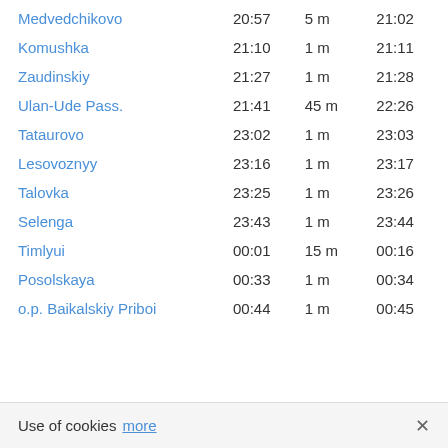| Station | Arrival | Stop | Departure |
| --- | --- | --- | --- |
| Medvedchikovo | 20:57 | 5 m | 21:02 |
| Komushka | 21:10 | 1 m | 21:11 |
| Zaudinskiy | 21:27 | 1 m | 21:28 |
| Ulan-Ude Pass. | 21:41 | 45 m | 22:26 |
| Tataurovo | 23:02 | 1 m | 23:03 |
| Lesovoznyy | 23:16 | 1 m | 23:17 |
| Talovka | 23:25 | 1 m | 23:26 |
| Selenga | 23:43 | 1 m | 23:44 |
| Timlyui | 00:01 | 15 m | 00:16 |
| Posolskaya | 00:33 | 1 m | 00:34 |
| o.p. Baikalskiy Priboi | 00:44 | 1 m | 00:45 |
Use of cookies more